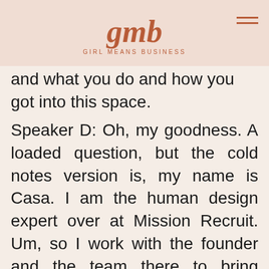gmb GIRL MEANS BUSINESS
into this. So before we dive into all the things human design, tell us a little bit about who you are and what you do and how you got into this space.
Speaker D: Oh, my goodness. A loaded question, but the cold notes version is, my name is Casa. I am the human design expert over at Mission Recruit. Um, so I work with the founder and the team there to bring human design into the workplace. And essentially, what human design is a personality